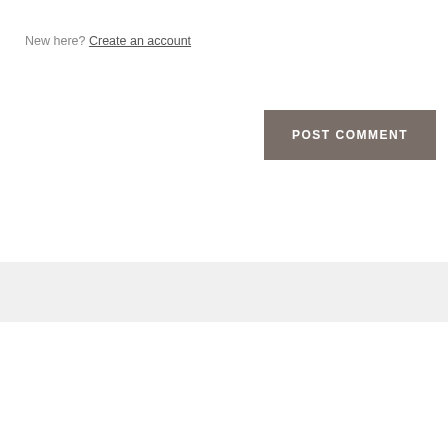New here? Create an account
POST COMMENT
[Figure (logo): HubSpot logo in gray]
grader.com   Terms of Service   Powered By UserVoice